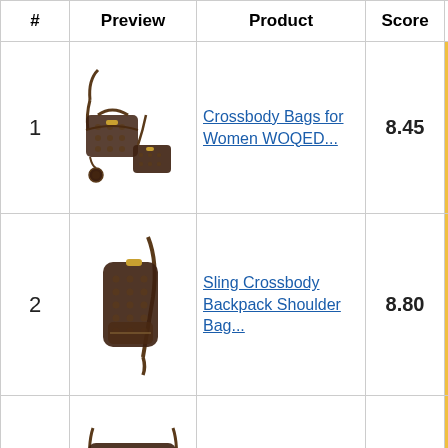| # | Preview | Product | Score |  |
| --- | --- | --- | --- | --- |
| 1 | [image: crossbody bags set] | Crossbody Bags for Women WOQED... | 8.45 | Buy on Ama... |
| 2 | [image: sling crossbody backpack] | Sling Crossbody Backpack Shoulder Bag... | 8.80 | Buy on Ama... |
| 3 | [image: crossbody handbag] | Crossbody Handbags for Women WOQED | 9.05 | Buy on Ama... |